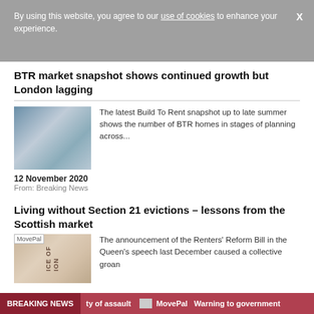By using this website, you agree to our use of cookies to enhance your experience.
BTR market snapshot shows continued growth but London lagging
[Figure (photo): Exterior photo of modern Build To Rent apartment building]
The latest Build To Rent snapshot up to late summer shows the number of BTR homes in stages of planning across...
12 November 2020
From: Breaking News
Living without Section 21 evictions – lessons from the Scottish market
[Figure (photo): Close-up photo of a legal notice document with text partially visible]
The announcement of the Renters' Reform Bill in the Queen's speech last December caused a collective groan
BREAKING NEWS   ty of assault   MovePal   Warning to government